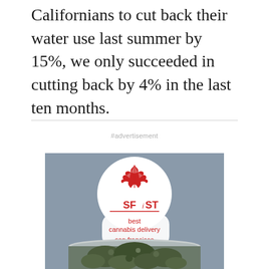Californians to cut back their water use last summer by 15%, we only succeeded in cutting back by 4% in the last ten months.
#advertisement
[Figure (illustration): SFist best cannabis delivery san francisco advertisement image showing a cannabis leaf logo above a jar of cannabis buds on a gray background]